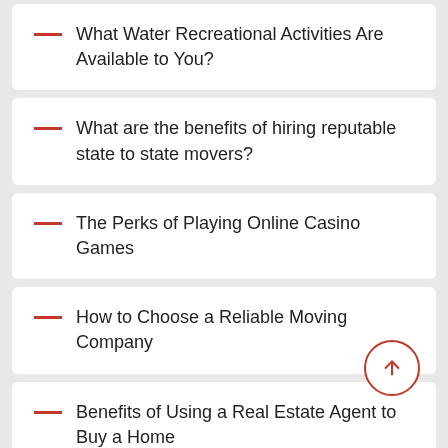What Water Recreational Activities Are Available to You?
What are the benefits of hiring reputable state to state movers?
The Perks of Playing Online Casino Games
How to Choose a Reliable Moving Company
Benefits of Using a Real Estate Agent to Buy a Home
10 Secrets to Hiring a House Cleaning Service